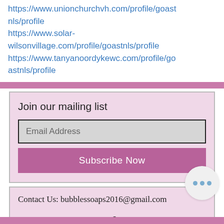https://www.unionchurchvh.com/profile/goastnls/profile
https://www.solar-wilsonvillage.com/profile/goastnls/profile
https://www.tanyanoordykewc.com/profile/goastnls/profile
[Figure (other): Mailing list signup widget with email input and Subscribe Now button, pink/mauve background]
Join our mailing list
Email Address
Subscribe Now
Contact Us: bubblessoaps2016@gmail.com
Follow and like us on